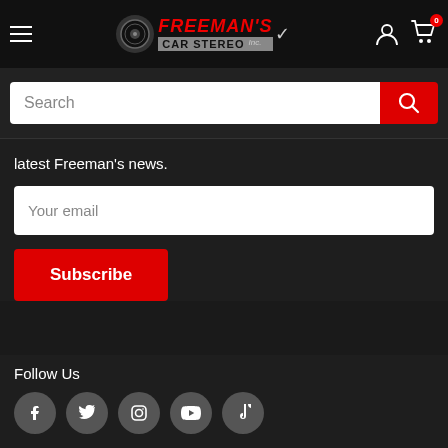[Figure (logo): Freeman's Car Stereo Inc. logo with speaker icon on black header bar]
[Figure (screenshot): Search bar with white input field and red search button with magnifying glass icon]
latest Freeman's news.
[Figure (screenshot): Email input field with placeholder 'Your email']
[Figure (screenshot): Red Subscribe button]
Follow Us
[Figure (infographic): Social media icons row: Facebook, Twitter, Instagram, YouTube, TikTok — all in grey circles]